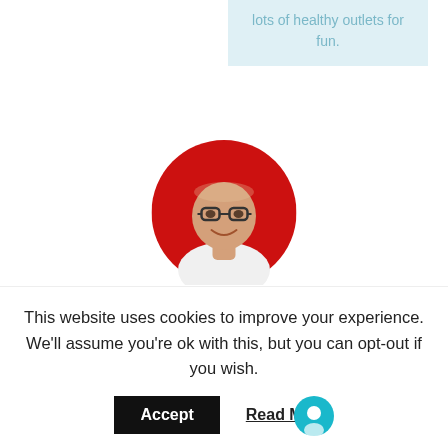lots of healthy outlets for fun.
[Figure (photo): Circular profile photo of Tim Mallon, a man with glasses wearing a white shirt, set against a red circular background]
ACCOUNTANT
Tim Mallon
This website uses cookies to improve your experience. We'll assume you're ok with this, but you can opt-out if you wish.
Accept   Read More